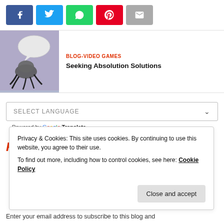[Figure (other): Social sharing buttons: Facebook (blue), Twitter (light blue), WhatsApp (green), Pinterest (red), Email (gray)]
[Figure (illustration): Blog thumbnail with illustrated creature with speech bubble on purple/gray background]
BLOG-VIDEO GAMES
Seeking Absolution Solutions
SELECT LANGUAGE
Powered by Google Translate
Register or Login
Privacy & Cookies: This site uses cookies. By continuing to use this website, you agree to their use.
To find out more, including how to control cookies, see here: Cookie Policy
Close and accept
Enter your email address to subscribe to this blog and